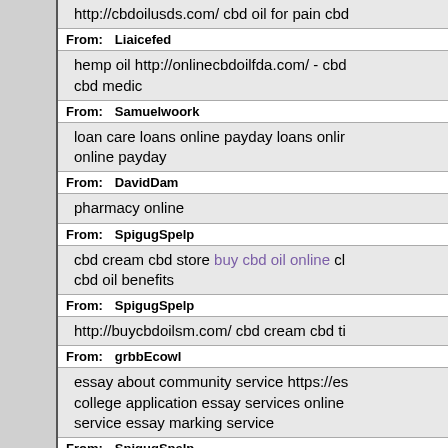http://cbdoilusds.com/ cbd oil for pain cbd…
From: Liaicefed
hemp oil http://onlinecbdoilfda.com/ - cbd… cbd medic
From: Samuelwoork
loan care loans online payday loans online… online payday
From: DavidDam
pharmacy online
From: SpigugSpelp
cbd cream cbd store buy cbd oil online cl… cbd oil benefits
From: SpigugSpelp
http://buycbdoilsm.com/ cbd cream cbd ti…
From: grbbEcowl
essay about community service https://es… college application essay services online… service essay marking service
From: SpigugSpelp
cbd store http://onlinecbdoilfda.com/ cbd… hemp oil
From: typowinoidaoo